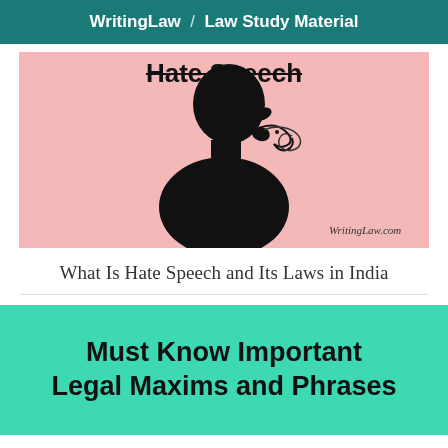WritingLaw / Law Study Material
[Figure (illustration): Pink background illustration showing a black silhouette of a person in profile with swirling lines coming from the mouth, with strikethrough text 'Hate Speech' at the top and 'WritingLaw.com' watermark at bottom right.]
What Is Hate Speech and Its Laws in India
[Figure (illustration): Teal/turquoise colored card with bold black text reading 'Must Know Important Legal Maxims and Phrases']
Must Know Important Legal Maxims and Phrases